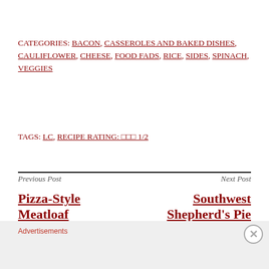CATEGORIES: BACON, CASSEROLES AND BAKED DISHES, CAULIFLOWER, CHEESE, FOOD FADS, RICE, SIDES, SPINACH, VEGGIES
TAGS: LC, RECIPE RATING: □□□ 1/2
Previous Post
Pizza-Style Meatloaf
Next Post
Southwest Shepherd's Pie
Advertisements